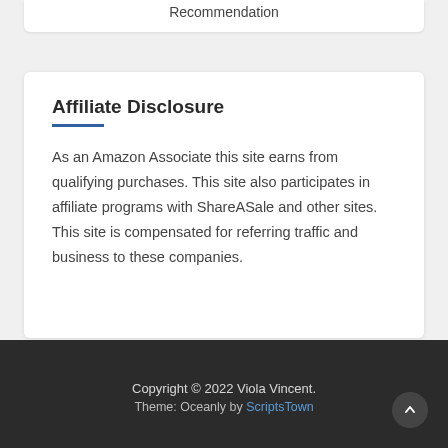Recommendation
Affiliate Disclosure
As an Amazon Associate this site earns from qualifying purchases. This site also participates in affiliate programs with ShareASale and other sites. This site is compensated for referring traffic and business to these companies.
Copyright © 2022 Viola Vincent. Theme: Oceanly by ScriptsTown